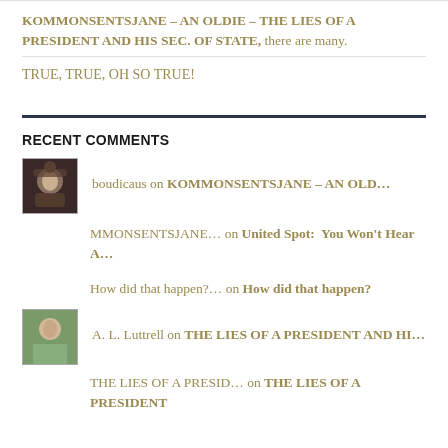KOMMONSENTSJANE – AN OLDIE – THE LIES OF A PRESIDENT AND HIS SEC. OF STATE, there are many.
TRUE, TRUE, OH SO TRUE!
RECENT COMMENTS
boudicaus on KOMMONSENTSJANE – AN OLD…
MMONSENTSJANE… on United Spot:  You Won't Hear A…
How did that happen?… on How did that happen?
A. L. Luttrell on THE LIES OF A PRESIDENT AND HI…
THE LIES OF A PRESID… on THE LIES OF A PRESIDENT